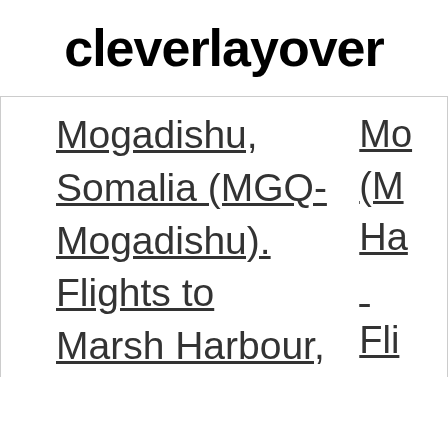cleverlayover
Mogadishu, Somalia (MGQ-Mogadishu). Flights to Marsh Harbour, Abaco Island
Mo (M Ha Fli